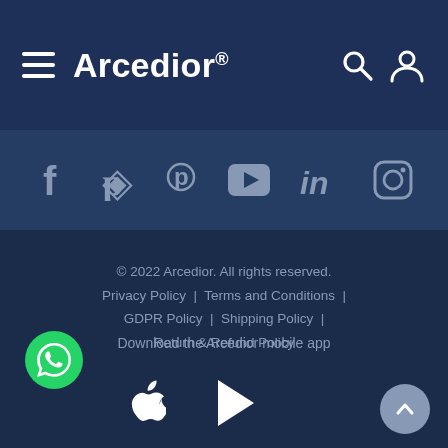Arcedior®
[Figure (screenshot): Social media icons row: Facebook, Pinterest, YouTube, LinkedIn, Instagram]
© 2022 Arcedior. All rights reserved. Privacy Policy | Terms and Conditions | GDPR Policy | Shipping Policy | Return & Refund Policy
Download the Arcedior mobile app
[Figure (logo): Apple App Store and Google Play Store icons, WhatsApp button, scroll-to-top button]